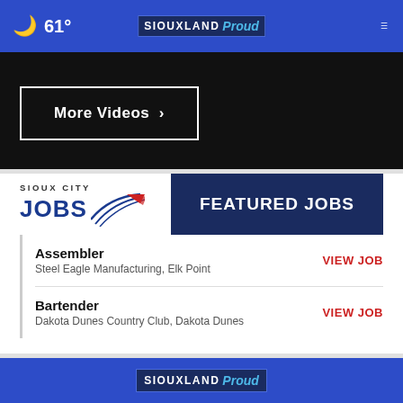61° SIOUXLAND Proud
More Videos ›
[Figure (logo): Sioux City Jobs logo with stylized bird/wing graphic and FEATURED JOBS banner in dark navy]
Assembler — Steel Eagle Manufacturing, Elk Point — VIEW JOB
Bartender — Dakota Dunes Country Club, Dakota Dunes — VIEW JOB
SIOUXLAND Proud .com